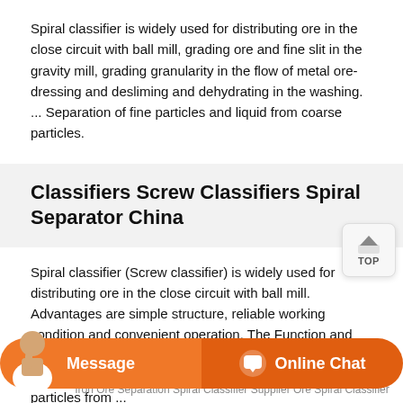Spiral classifier is widely used for distributing ore in the close circuit with ball mill, grading ore and fine slit in the gravity mill, grading granularity in the flow of metal ore-dressing and desliming and dehydrating in the washing. ... Separation of fine particles and liquid from coarse particles.
Classifiers Screw Classifiers Spiral Separator China
Spiral classifier (Screw classifier) is widely used for distributing ore in the close circuit with ball mill. Advantages are simple structure, reliable working condition and convenient operation. The Function and Usage of Spiral Classifier 1. Separation of fine particles and liquid from coarse particles. 2. Separation of light particles from ...
Iron Ore Separation Spiral Classifier Supplier
Iron Ore Separation Spiral Classifier Supplier Ore Spiral Classifier